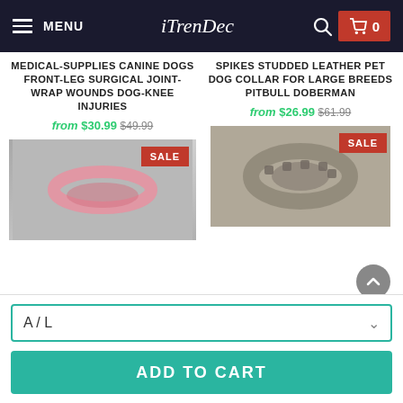iTrenDec
MEDICAL-SUPPLIES CANINE DOGS FRONT-LEG SURGICAL JOINT-WRAP WOUNDS DOG-KNEE INJURIES
from $30.99 $49.99
[Figure (photo): Product image of a pink dog knee wrap/collar with SALE badge]
SPIKES STUDDED LEATHER PET DOG COLLAR FOR LARGE BREEDS PITBULL DOBERMAN
from $26.99 $61.99
[Figure (photo): Product image of a metal studded dog collar with SALE badge]
A / L
ADD TO CART